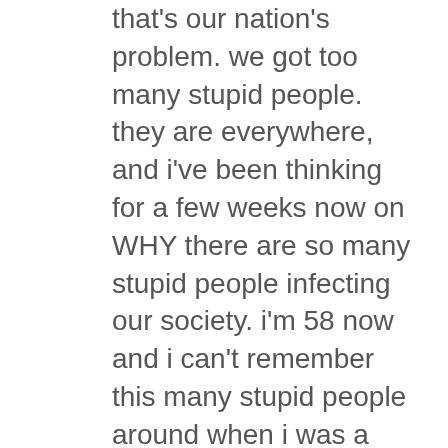that's our nation's problem. we got too many stupid people. they are everywhere, and i've been thinking for a few weeks now on WHY there are so many stupid people infecting our society. i'm 58 now and i can't remember this many stupid people around when i was a younger man. they are EVERYWHERE. the problem is that we have sooo many laws now to protect the STUPID from themselves, and they breed MORE stupid people. we have laws to make sure stupid people can get a job for example....i REALLY believe that a lot of stupid people get hired into government jobs because the human resources hirers know we would be paying for their welfare payments if they weren't given these gubmint jobs. they have been instructed by their superiors to hire the handicapped(stupid) to keep the welfare